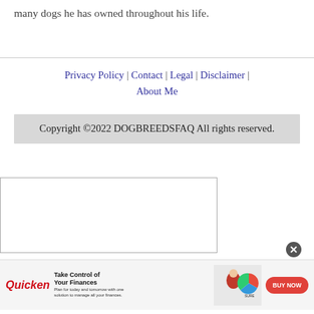many dogs he has owned throughout his life.
Privacy Policy | Contact | Legal | Disclaimer | About Me
Copyright ©2022 DOGBREEDSFAQ All rights reserved.
[Figure (other): Empty white advertisement placeholder box with border]
[Figure (infographic): Quicken advertisement banner: Take Control of Your Finances. Plan for today and tomorrow with one solution to manage all your finances. BUY NOW button.]